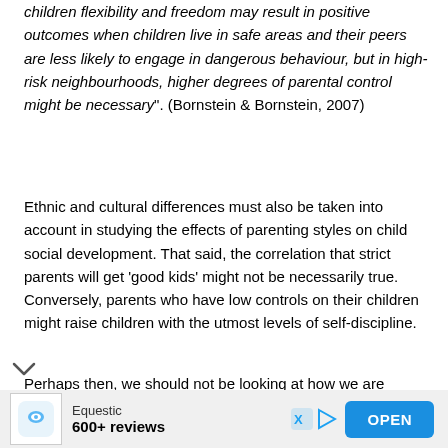children flexibility and freedom may result in positive outcomes when children live in safe areas and their peers are less likely to engage in dangerous behaviour, but in high-risk neighbourhoods, higher degrees of parental control might be necessary". (Bornstein & Bornstein, 2007)
Ethnic and cultural differences must also be taken into account in studying the effects of parenting styles on child social development. That said, the correlation that strict parents will get 'good kids' might not be necessarily true. Conversely, parents who have low controls on their children might raise children with the utmost levels of self-discipline.
Perhaps then, we should not be looking at how we are parenting but the options available as a parent to...
[Figure (other): Advertisement banner for Equestic app showing logo, '600+ reviews' text, and an OPEN button]